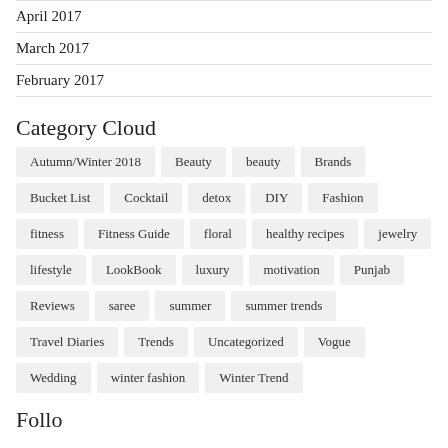April 2017
March 2017
February 2017
Category Cloud
Autumn/Winter 2018, Beauty, beauty, Brands, Bucket List, Cocktail, detox, DIY, Fashion, fitness, Fitness Guide, floral, healthy recipes, jewelry, lifestyle, LookBook, luxury, motivation, Punjab, Reviews, saree, summer, summer trends, Travel Diaries, Trends, Uncategorized, Vogue, Wedding, winter fashion, Winter Trend
Follo